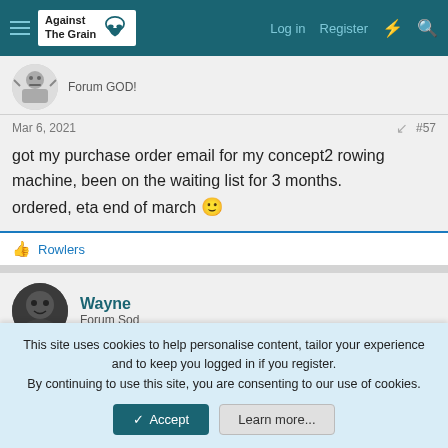Against The Grain — Log in  Register
Forum GOD!
Mar 6, 2021  #57
got my purchase order email for my concept2 rowing machine, been on the waiting list for 3 months.
ordered, eta end of march 🙂
👍 Rowlers
Wayne
Forum Sod
May 20, 2021  #59
This site uses cookies to help personalise content, tailor your experience and to keep you logged in if you register.
By continuing to use this site, you are consenting to our use of cookies.
✓ Accept   Learn more...